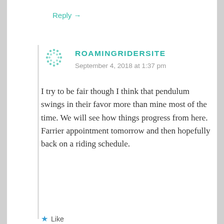Reply →
ROAMINGRIDERSITE
September 4, 2018 at 1:37 pm
I try to be fair though I think that pendulum swings in their favor more than mine most of the time. We will see how things progress from here. Farrier appointment tomorrow and then hopefully back on a riding schedule.
★ Like
Reply →